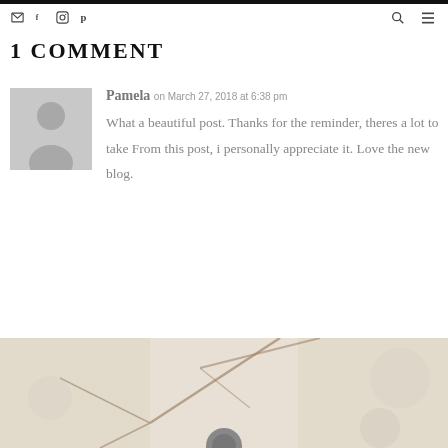1 COMMENT
Pamela on March 27, 2018 at 6:38 pm
What a beautiful post. Thanks for the reminder, theres a lot to take From this post, i personally appreciate it. Love the new blog.
[Figure (photo): Decorative photo at bottom showing branches with bokeh/blurred background in muted tones]